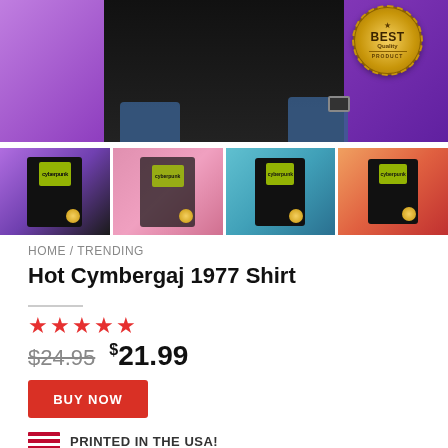[Figure (photo): Hero product image showing person wearing black t-shirt against purple background, with 'BEST Quality PRODUCT' gold badge in top right corner]
[Figure (photo): Four product thumbnail images showing the Cymbergaj 1977 shirt in different styles: t-shirt, hoodie, women's v-neck, and tank top]
HOME / TRENDING
Hot Cymbergaj 1977 Shirt
★★★★★
$24.95  $21.99
BUY NOW
PRINTED IN THE USA!